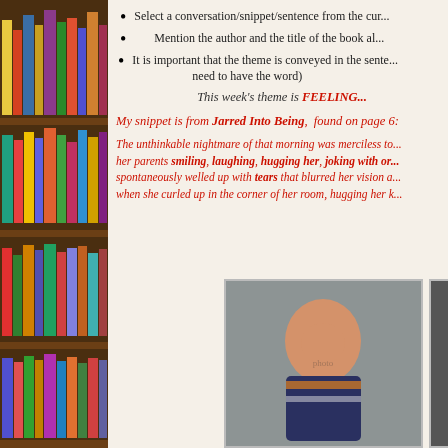[Figure (photo): Bookshelf with colorful books on the left side of the page]
Select a conversation/snippet/sentence from the cur...
Mention the author and the title of the book al...
It is important that the theme is conveyed in the sente... need to have the word)
This week's theme is FEELING...
My snippet is from Jarred Into Being, found on page 6:
The unthinkable nightmare of that morning was merciless to... her parents smiling, laughing, hugging her, joking with or... spontaneously welled up with tears that blurred her vision a... when she curled up in the corner of her room, hugging her k...
[Figure (photo): Smiling young boy in a jacket, standing in front of a metal diamond-plate background]
[Figure (photo): Black and white photo of a person, partially visible on the right edge]